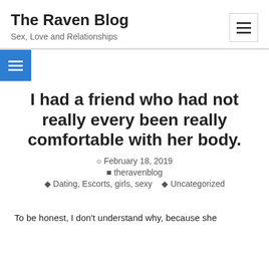The Raven Blog
Sex, Love and Relationships
I had a friend who had not really every been really comfortable with her body.
February 18, 2019
theravenblog
Dating, Escorts, girls, sexy   Uncategorized
To be honest, I don't understand why, because she